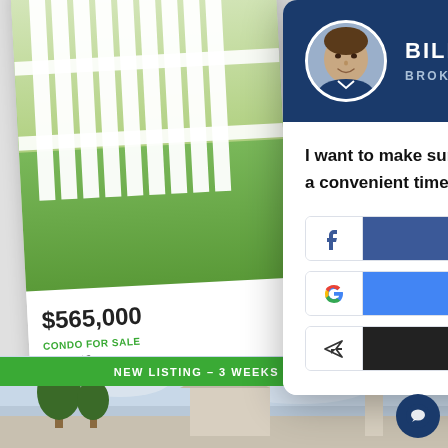[Figure (screenshot): Background listing card showing property photo with white fence and green foliage, price $565,000, CONDO FOR SALE PENDING, 3 BEDS 2 TOT, Habor Pointe, 637 William..., Mooresville]
$565,000
CONDO FOR SALE
PENDING
3 BEDS | 2 TOT
Habor Pointe
637 William...
Mooresville
BILL ADAMS
BROKER
I want to make sure I give you the attention you deserve. So feel free to schedule a convenient time for me to give you a ring!
Continue with Facebook
Continue with Google
Continue with Email
NEW LISTING – 3 WEEKS ONLINE
[Figure (photo): Bottom listing photo showing house exterior with trees and sky]